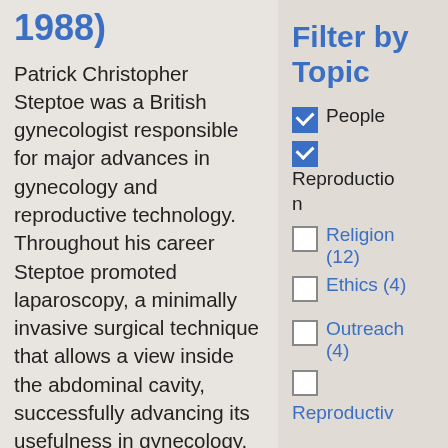1988)
Patrick Christopher Steptoe was a British gynecologist responsible for major advances in gynecology and reproductive technology. Throughout his career Steptoe promoted laparoscopy, a minimally invasive surgical technique that allows a view inside the abdominal cavity, successfully advancing its usefulness in gynecology. After partnering with embryologist Robert Edwards in 1966, the pair performed the first in vitro fertilization in humans.
Filter by Topic
People (checked)
Reproduction (checked)
Religion (12)
Ethics (4)
Outreach (4)
Reproductiv...